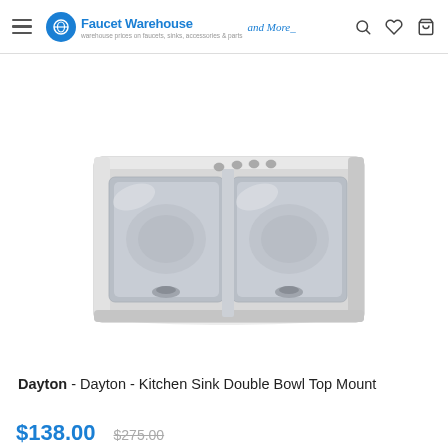Faucet Warehouse and More
[Figure (photo): Stainless steel double bowl top mount kitchen sink viewed from slight angle above, showing two basins with faucet holes along the back edge and drain openings in each bowl.]
Dayton - Dayton - Kitchen Sink Double Bowl Top Mount
$138.00   $275.00